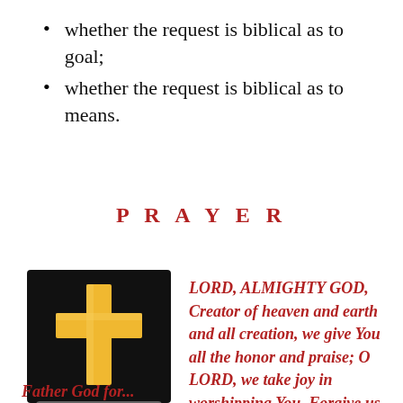whether the request is biblical as to goal;
whether the request is biblical as to means.
P R A Y E R
[Figure (illustration): A golden Christian cross on a black background, with a slight reflection below.]
LORD, ALMIGHTY GOD, Creator of heaven and earth and all creation, we give You all the honor and praise; O LORD, we take joy in worshipping You. Forgive us weaknesses,
Father God for...